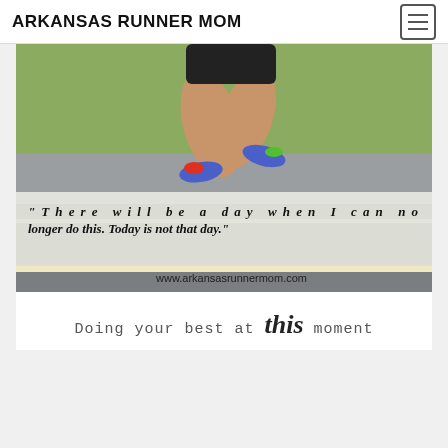ARKANSAS RUNNER MOM
[Figure (photo): A runner (legs and torso visible) mid-stride on a road with grass in background, overlaid with bold italic quote text: '"There will be a day when I can no longer do this. Today is not that day."' and website www.arkansasrunnermom.com at the bottom.]
Doing your best at this moment